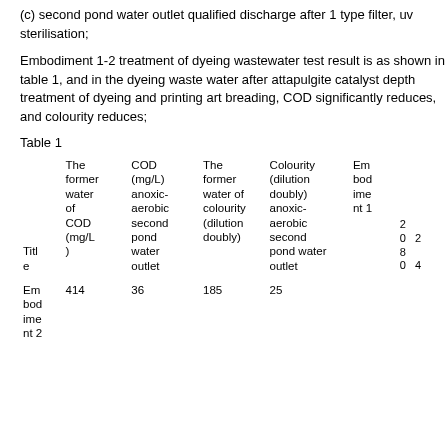(c) second pond water outlet qualified discharge after 1 type filter, uv sterilisation;
Embodiment 1-2 treatment of dyeing wastewater test result is as shown in table 1, and in the dyeing waste water after attapulgite catalyst depth treatment of dyeing and printing art breading, COD significantly reduces, and colourity reduces;
Table 1
| Title | The former water of COD (mg/L) | COD (mg/L) anoxic-aerobic second pond water outlet | The former water of colourity (dilution doubly) | Colourity (dilution doubly) anoxic-aerobic second pond water outlet | Embodiment 1 | 500 | 400 | 880 | 204 |
| --- | --- | --- | --- | --- | --- | --- | --- | --- | --- |
| Em bod ime nt 2 | 414 | 36 | 185 | 25 |  |  |  |  |  |